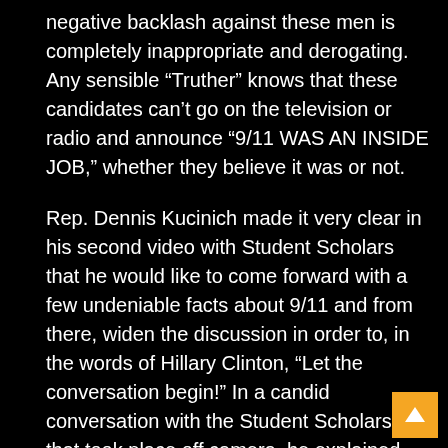negative backlash against these men is completely inappropriate and derogating. Any sensible “Truther” knows that these candidates can’t go on the television or radio and announce “9/11 WAS AN INSIDE JOB,” whether they believe it was or not.
Rep. Dennis Kucinich made it very clear in his second video with Student Scholars that he would like to come forward with a few undeniable facts about 9/11 and from there, widen the discussion in order to, in the words of Hillary Clinton, “Let the conversation begin!” In a candid conversation with the Student Scholars that took place off camera, he explained the various aspects of 9/11 that he’s already had his office looking into for quite some time. These are not the actions of a person who is not serious about this topic.